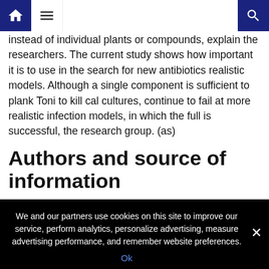[Home icon] [Menu icon] [Search icon]
instead of individual plants or compounds, explain the researchers. The current study shows how important it is to use in the search for new antibiotics realistic models. Although a single component is sufficient to plank Toni to kill cal cultures, continue to fail at more realistic infection models, in which the full is successful, the research group. (as)
Authors and source of information
Related posts:
India's virus lockdown eased while infection rate speeds up
[Cookie banner] We and our partners use cookies on this site to improve our service, perform analytics, personalize advertising, measure advertising performance, and remember website preferences. Ok